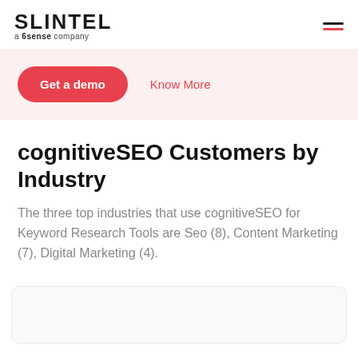SLINTEL a 6sense company
Get a demo
Know More
cognitiveSEO Customers by Industry
The three top industries that use cognitiveSEO for Keyword Research Tools are Seo (8), Content Marketing (7), Digital Marketing (4).
[Figure (other): Empty chart placeholder box at the bottom of the page]